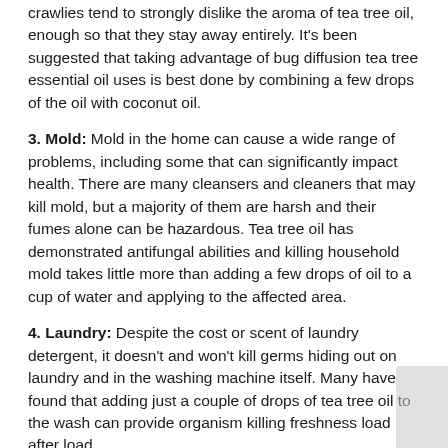crawlies tend to strongly dislike the aroma of tea tree oil, enough so that they stay away entirely. It's been suggested that taking advantage of bug diffusion tea tree essential oil uses is best done by combining a few drops of the oil with coconut oil.
3. Mold: Mold in the home can cause a wide range of problems, including some that can significantly impact health. There are many cleansers and cleaners that may kill mold, but a majority of them are harsh and their fumes alone can be hazardous. Tea tree oil has demonstrated antifungal abilities and killing household mold takes little more than adding a few drops of oil to a cup of water and applying to the affected area.
4. Laundry: Despite the cost or scent of laundry detergent, it doesn't and won't kill germs hiding out on laundry and in the washing machine itself. Many have found that adding just a couple of drops of tea tree oil to the wash can provide organism killing freshness load after load.
5. Fungal Infections: Tea tree essential oil uses include killing fungus, whether that fungus is on a basement wall or on the big toe. One study in particular found that eighty percent of affected individuals with toenail fungus experienced relief when using a cream that